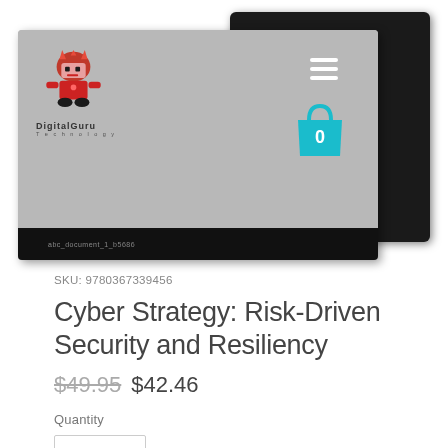[Figure (screenshot): Screenshot of DigitalGuru Technology website showing navigation header with logo, hamburger menu icon, and teal shopping cart icon with 0 badge, displayed on a grey background. Behind it is a dark tablet device frame.]
SKU: 9780367339456
Cyber Strategy: Risk-Driven Security and Resiliency
$49.95 $42.46
Quantity